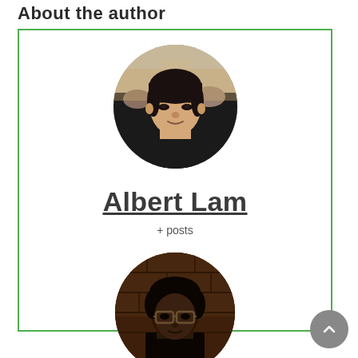About the author
[Figure (photo): Author card with green border containing circular profile photo of Albert Lam (young Asian man in dark shirt) and circular profile photo of a second person wearing glasses in a dimly lit setting]
Albert Lam
+ posts